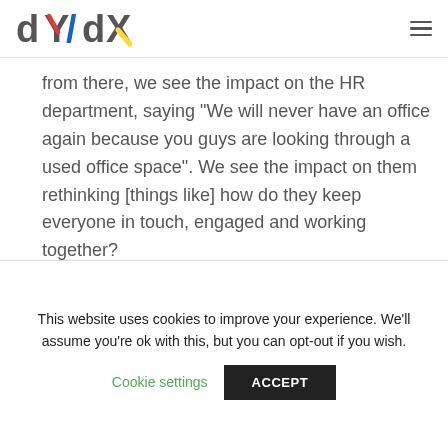dY/dX logo and navigation menu
from there, we see the impact on the HR department, saying “We will never have an office again because you guys are looking through a used office space”. We see the impact on them rethinking [things like] how do they keep everyone in touch, engaged and working together?
This website uses cookies to improve your experience. We’ll assume you’re ok with this, but you can opt-out if you wish.
Cookie settings  ACCEPT